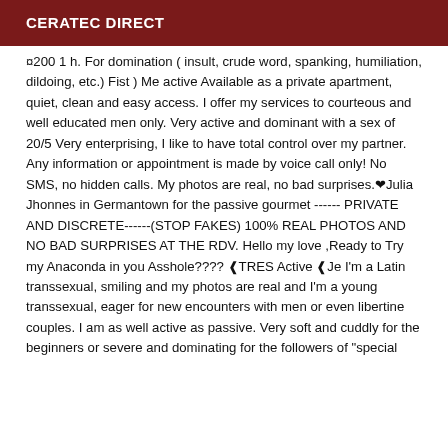CERATEC DIRECT
¤200 1 h. For domination ( insult, crude word, spanking, humiliation, dildoing, etc.) Fist ) Me active Available as a private apartment, quiet, clean and easy access. I offer my services to courteous and well educated men only. Very active and dominant with a sex of 20/5 Very enterprising, I like to have total control over my partner. Any information or appointment is made by voice call only! No SMS, no hidden calls. My photos are real, no bad surprises.❤Julia Jhonnes in Germantown for the passive gourmet ------ PRIVATE AND DISCRETE------(STOP FAKES) 100% REAL PHOTOS AND NO BAD SURPRISES AT THE RDV. Hello my love ,Ready to Try my Anaconda in you Asshole???? ❰TRES Active ❰Je I'm a Latin transsexual, smiling and my photos are real and I'm a young transsexual, eager for new encounters with men or even libertine couples. I am as well active as passive. Very soft and cuddly for the beginners or severe and dominating for the followers of "special